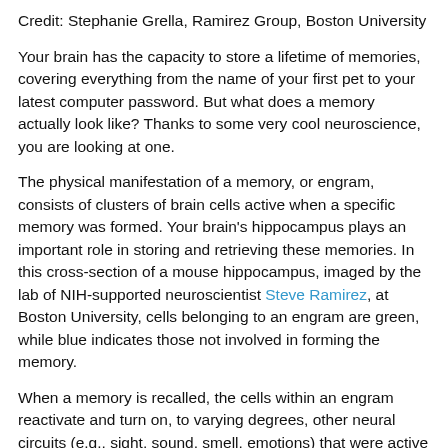Credit: Stephanie Grella, Ramirez Group, Boston University
Your brain has the capacity to store a lifetime of memories, covering everything from the name of your first pet to your latest computer password. But what does a memory actually look like? Thanks to some very cool neuroscience, you are looking at one.
The physical manifestation of a memory, or engram, consists of clusters of brain cells active when a specific memory was formed. Your brain's hippocampus plays an important role in storing and retrieving these memories. In this cross-section of a mouse hippocampus, imaged by the lab of NIH-supported neuroscientist Steve Ramirez, at Boston University, cells belonging to an engram are green, while blue indicates those not involved in forming the memory.
When a memory is recalled, the cells within an engram reactivate and turn on, to varying degrees, other neural circuits (e.g., sight, sound, smell, emotions) that were active when that memory was recorded. It's not clear how these brain-wide connections are made. But it